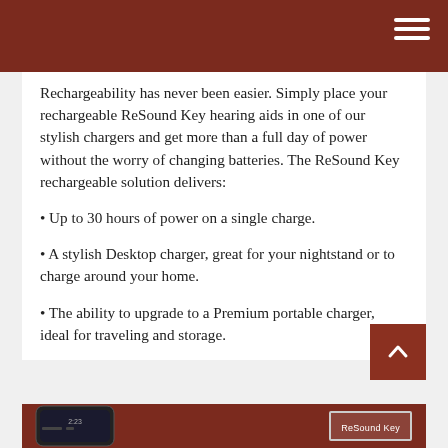Rechargeability has never been easier. Simply place your rechargeable ReSound Key hearing aids in one of our stylish chargers and get more than a full day of power without the worry of changing batteries. The ReSound Key rechargeable solution delivers:
Up to 30 hours of power on a single charge.
A stylish Desktop charger, great for your nightstand or to charge around your home.
The ability to upgrade to a Premium portable charger, ideal for traveling and storage.
[Figure (screenshot): Bottom section showing a smartphone and a button labeled ReSound Key on a dark red background]